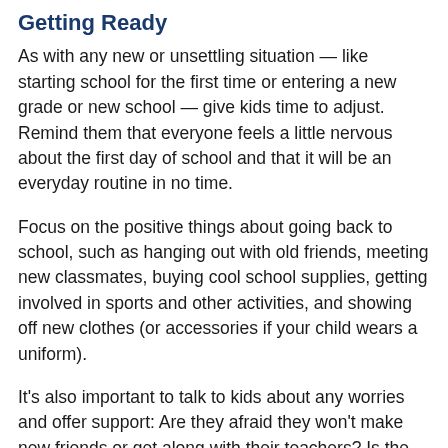Getting Ready
As with any new or unsettling situation — like starting school for the first time or entering a new grade or new school — give kids time to adjust. Remind them that everyone feels a little nervous about the first day of school and that it will be an everyday routine in no time.
Focus on the positive things about going back to school, such as hanging out with old friends, meeting new classmates, buying cool school supplies, getting involved in sports and other activities, and showing off new clothes (or accessories if your child wears a uniform).
It's also important to talk to kids about any worries and offer support: Are they afraid they won't make new friends or get along with their teachers? Is the thought